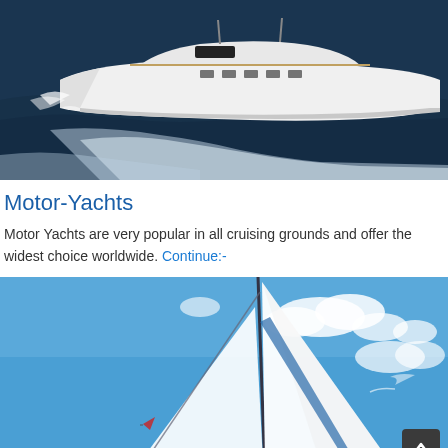[Figure (photo): Aerial view of a large white motor yacht speeding through dark ocean water, creating white wake]
Motor-Yachts
Motor Yachts are very popular in all cruising grounds and offer the widest choice worldwide. Continue:-
[Figure (photo): Sailing yacht with tall white sails against a bright blue sky with scattered white clouds]